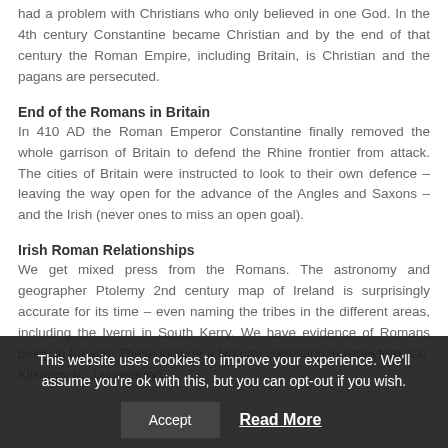had a problem with Christians who only believed in one God. In the 4th century Constantine became Christian and by the end of that century the Roman Empire, including Britain, is Christian and the pagans are persecuted.
End of the Romans in Britain
In 410 AD the Roman Emperor Constantine finally removed the whole garrison of Britain to defend the Rhine frontier from attack. The cities of Britain were instructed to look to their own defence – leaving the way open for the advance of the Angles and Saxons – and the Irish (never ones to miss an open goal).
Irish Roman Relationships
We get mixed press from the Romans. The astronomy and geographer Ptolemy 2nd century map of Ireland is surprisingly accurate for its time – even naming the tribes in the different areas, including the Iverni in South Kerry. We have evidence of Romans being in Ireland. These include a Roman cremation in Stonyford, Co. Kilkenny (c. 1st century)
This website uses cookies to improve your experience. We'll assume you're ok with this, but you can opt-out if you wish.